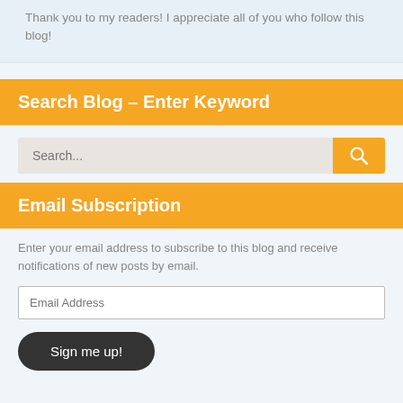Thank you to my readers! I appreciate all of you who follow this blog!
Search Blog – Enter Keyword
Search...
Email Subscription
Enter your email address to subscribe to this blog and receive notifications of new posts by email.
Email Address
Sign me up!